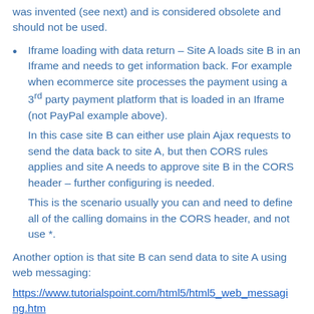was invented (see next) and is considered obsolete and should not be used.
Iframe loading with data return – Site A loads site B in an Iframe and needs to get information back. For example when ecommerce site processes the payment using a 3rd party payment platform that is loaded in an Iframe (not PayPal example above).
In this case site B can either use plain Ajax requests to send the data back to site A, but then CORS rules applies and site A needs to approve site B in the CORS header – further configuring is needed.
This is the scenario usually you can and need to define all of the calling domains in the CORS header, and not use *.
Another option is that site B can send data to site A using web messaging:
https://www.tutorialspoint.com/html5/html5_web_messaging.htm
"Web Messaging is the way for documents to separates browsing context to share the data without